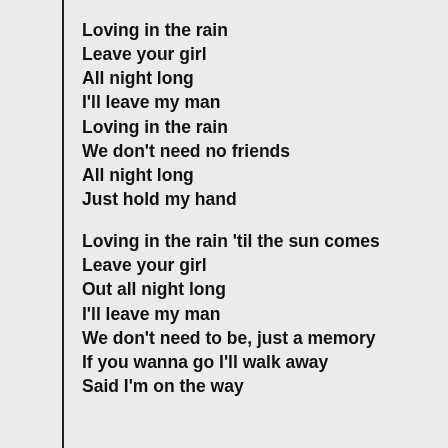Loving in the rain
Leave your girl
All night long
I'll leave my man
Loving in the rain
We don’t need no friends
All night long
Just hold my hand
Loving in the rain ’til the sun comes
Leave your girl
Out all night long
I’ll leave my man
We don’t need to be, just a memory
If you wanna go I’ll walk away
Said I’m on the way